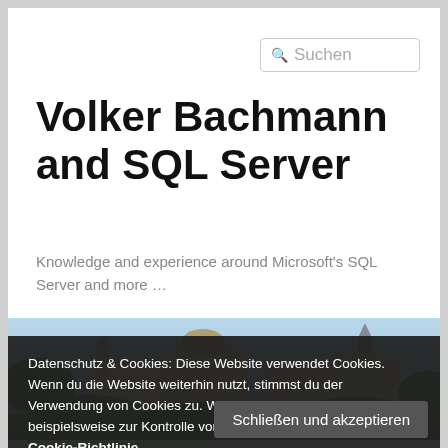[Figure (screenshot): Search box with magnifying glass icon and placeholder text 'Suchen']
Volker Bachmann and SQL Server
Knowledge and experience around Microsoft's SQL Server and more …
[Figure (photo): Cityscape photo showing historic buildings and a church spire against a blue sky with green trees in the foreground]
Datenschutz & Cookies: Diese Website verwendet Cookies. Wenn du die Website weiterhin nutzt, stimmst du der Verwendung von Cookies zu. Weitere Informationen, beispielsweise zur Kontrolle von Cookies, findest du hier: Cookie-Richtlinie
Schließen und akzeptieren